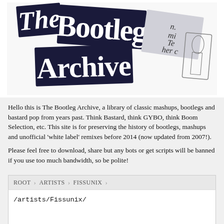[Figure (logo): The Bootleg Archive logo — large ransom-note style lettering spelling 'THE BOOTLEG ARCHIVE' using mixed blackletter and block stamped letters on dark rectangular backgrounds, arranged at a slight angle]
Hello this is The Bootleg Archive, a library of classic mashups, bootlegs and bastard pop from years past. Think Bastard, think GYBO, think Boom Selection, etc. This site is for preserving the history of bootlegs, mashups and unofficial 'white label' remixes before 2014 (now updated from 2007!).
Please feel free to download, share but any bots or get scripts will be banned if you use too much bandwidth, so be polite!
ROOT > ARTISTS > FISSUNIX
/artists/Fissunix/